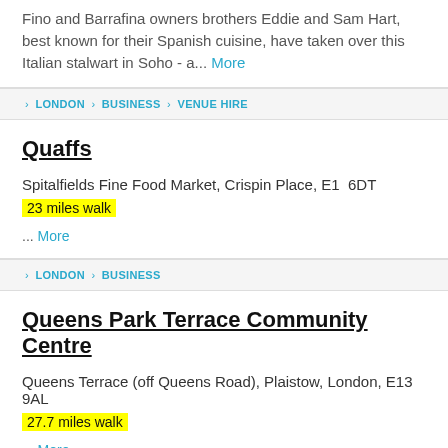Fino and Barrafina owners brothers Eddie and Sam Hart, best known for their Spanish cuisine, have taken over this Italian stalwart in Soho - a... More
LONDON › BUSINESS › VENUE HIRE
Quaffs
Spitalfields Fine Food Market, Crispin Place, E1 6DT
23 miles walk
... More
LONDON › BUSINESS
Queens Park Terrace Community Centre
Queens Terrace (off Queens Road), Plaistow, London, E13 9AL
27.7 miles walk
... More
LONDON › BUSINESS › VENUE HIRE
(partial title cut off)